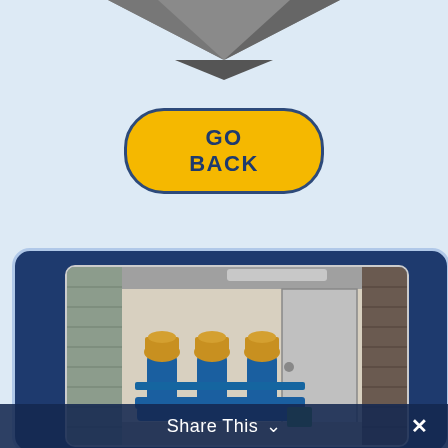[Figure (photo): Partial view of a photo at the top of the page showing a diamond/angular shaped piece of ground or structure]
[Figure (other): GO BACK button — yellow rounded rectangle with dark navy border and bold navy uppercase text 'GO BACK']
[Figure (photo): Industrial water or plumbing equipment — three blue pipe assemblies with brass/gold valve tops inside an equipment room with a grey metal door open to the right]
Share This ∨